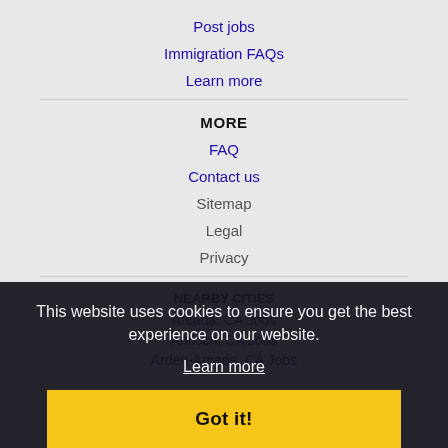Post jobs
Immigration FAQs
Learn more
MORE
FAQ
Contact us
Sitemap
Legal
Privacy
NEARBY CITIES
Arcada, CA Jobs
Antioch, CA Jobs
Arden-Arcade, CA Jobs
This website uses cookies to ensure you get the best experience on our website.
Learn more
Got it!